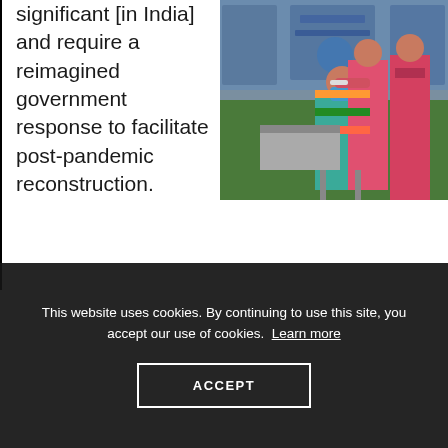significant [in India] and require a reimagined government response to facilitate post-pandemic reconstruction.
[Figure (photo): A woman in a sari and mask receiving a vaccine injection from a healthcare worker in a pink outfit, with another person standing nearby in a medical setting with banners in the background.]
This website uses cookies. By continuing to use this site, you accept our use of cookies. Learn more
ACCEPT